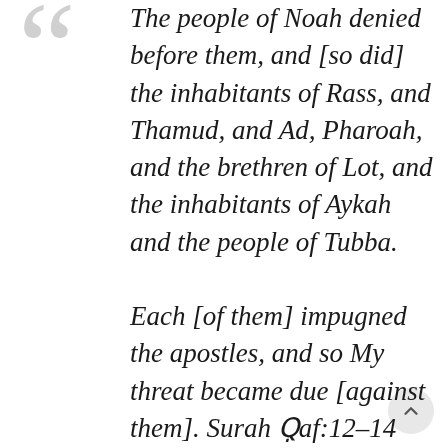The people of Noah denied before them, and [so did] the inhabitants of Rass, and Thamud, and Ad, Pharoah, and the brethren of Lot, and the inhabitants of Aykah and the people of Tubba. Each [of them] impugned the apostles, and so My threat became due [against them]. Surah Qaf:12–14